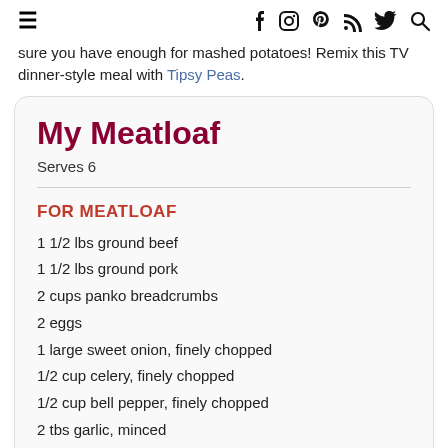≡  f  ⬤  P  ☁  🐦  🔍
sure you have enough for mashed potatoes! Remix this TV dinner-style meal with Tipsy Peas.
My Meatloaf
Serves 6
FOR MEATLOAF
1 1/2 lbs ground beef
1 1/2 lbs ground pork
2 cups panko breadcrumbs
2 eggs
1 large sweet onion, finely chopped
1/2 cup celery, finely chopped
1/2 cup bell pepper, finely chopped
2 tbs garlic, minced
1 tbs thyme